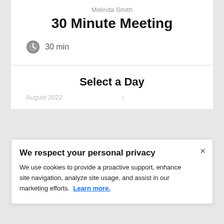Melinda Smith
30 Minute Meeting
30 min
Select a Day
We respect your personal privacy
We use cookies to provide a proactive support, enhance site navigation, analyze site usage, and assist in our marketing efforts. Learn more.